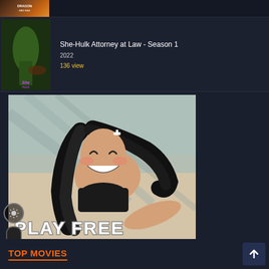[Figure (screenshot): Partial top bar with a movie/show thumbnail (Dragon-related, HBO Max branding) partially visible at very top of screen]
She-Hulk Attorney at Law - Season 1
2022
136 view
[Figure (illustration): Anime-style illustration of a smiling dark-haired girl in a black top with text 'PLAY FREE' overlaid in white bold letters at the bottom]
TOP MOVIES